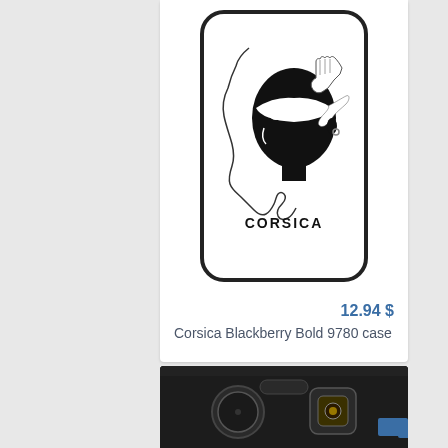[Figure (photo): White phone case with Corsica map silhouette and 'CORSICA' text, featuring a Moorish head logo]
12.94 $
Corsica Blackberry Bold 9780 case
[Figure (photo): Black Blackberry Bold 9780 smartphone, partial view showing back with camera and keyboard area]